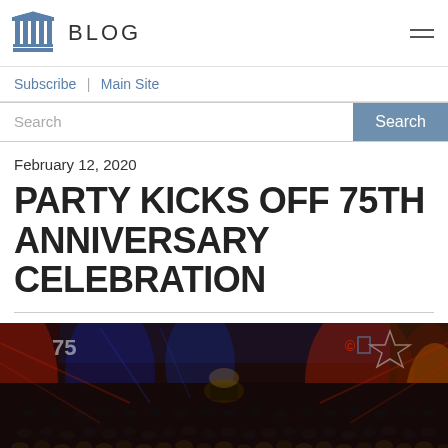BLOG
Subscribe | Main Site
Search
February 12, 2020
PARTY KICKS OFF 75TH ANNIVERSARY CELEBRATION
[Figure (photo): Large event hall filled with a crowd of people at a 75th anniversary celebration party, with red and blue stage lighting, a '75' logo visible on the wall, and decorative star cutouts overhead.]